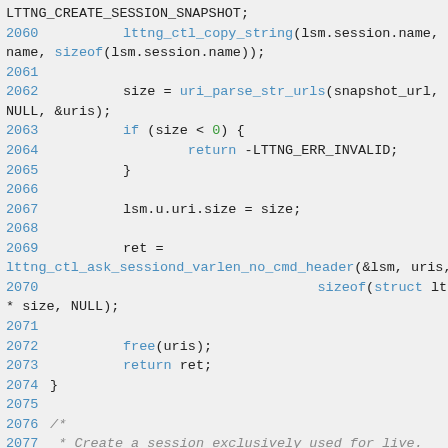[Figure (screenshot): Source code listing showing C code for an lttng session snapshot function, lines 2060-2078, with syntax highlighting: line numbers in blue, keywords/function names in blue, numeric literals in green, comments in gray italic.]